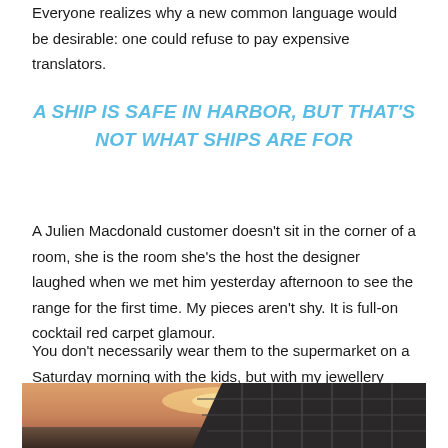Everyone realizes why a new common language would be desirable: one could refuse to pay expensive translators.
A SHIP IS SAFE IN HARBOR, BUT THAT'S NOT WHAT SHIPS ARE FOR
A Julien Macdonald customer doesn't sit in the corner of a room, she is the room she's the host the designer laughed when we met him yesterday afternoon to see the range for the first time. My pieces aren't shy. It is full-on cocktail red carpet glamour.
You don't necessarily wear them to the supermarket on a Saturday morning with the kids, but with my jewellery they probably will.
[Figure (photo): Partial view of a sunset sky with warm orange and pink tones, and a dark metal structure (possibly scaffolding or a vehicle rack) visible on the right side.]